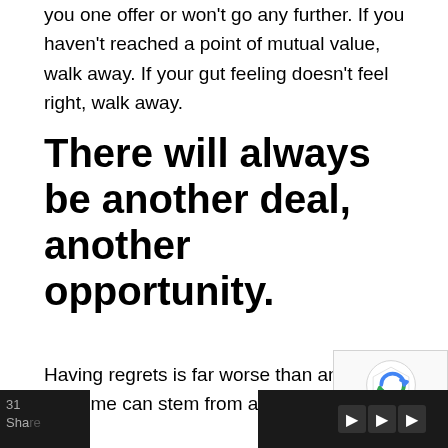you one offer or won't go any further. If you haven't reached a point of mutual value, walk away. If your gut feeling doesn't feel right, walk away.
There will always be another deal, another opportunity.
Having regrets is far worse than any other outcome can stem from a negotiation.
[Figure (other): reCAPTCHA privacy badge widget in bottom-right corner]
31 Share